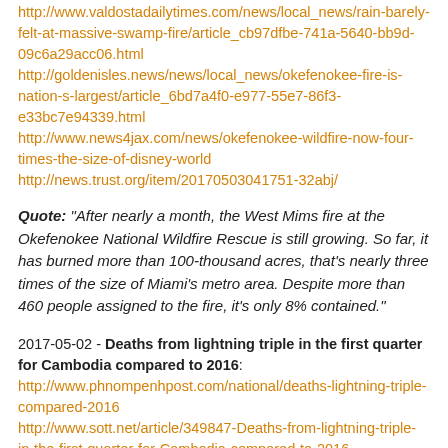http://www.valdostadailytimes.com/news/local_news/rain-barely-felt-at-massive-swamp-fire/article_cb97dfbe-741a-5640-bb9d-09c6a29acc06.html
http://goldenisles.news/news/local_news/okefenokee-fire-is-nation-s-largest/article_6bd7a4f0-e977-55e7-86f3-e33bc7e94339.html
http://www.news4jax.com/news/okefenokee-wildfire-now-four-times-the-size-of-disney-world
http://news.trust.org/item/20170503041751-32abj/
Quote: "After nearly a month, the West Mims fire at the Okefenokee National Wildfire Rescue is still growing. So far, it has burned more than 100-thousand acres, that's nearly three times of the size of Miami's metro area. Despite more than 460 people assigned to the fire, it's only 8% contained."
2017-05-02 - Deaths from lightning triple in the first quarter for Cambodia compared to 2016: http://www.phnompenhpost.com/national/deaths-lightning-triple-compared-2016 http://www.sott.net/article/349847-Deaths-from-lightning-triple-in-the-first-quarter-for-Cambodia-compared-to-2016